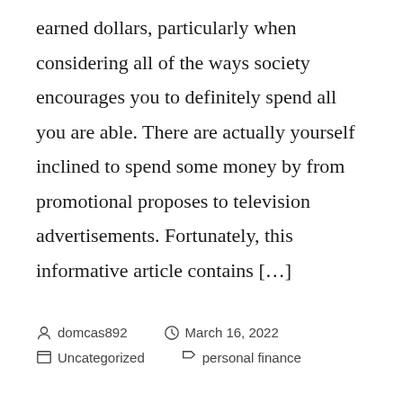earned dollars, particularly when considering all of the ways society encourages you to definitely spend all you are able. There are actually yourself inclined to spend some money by from promotional proposes to television advertisements. Fortunately, this informative article contains […]
domcas892   March 16, 2022   Uncategorized   personal finance